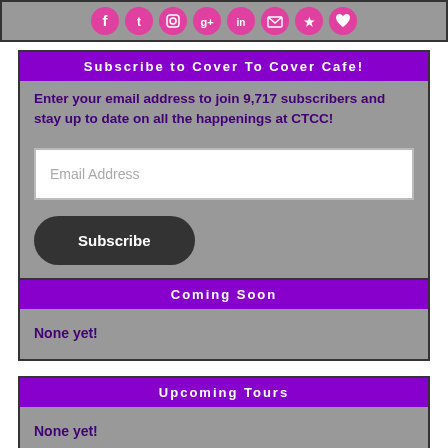[Figure (illustration): Row of social media icon circles (Facebook, Twitter, Instagram, Google+, LinkedIn, email, and others) in pink/magenta on a gray background]
Subscribe to Cover To Cover Cafe!
Enter your email address to join 9,717 subscribers and stay up to date on all the happenings at CTCC!
Email Address
Subscribe
Coming Soon
None yet!
Upcoming Tours
None yet!